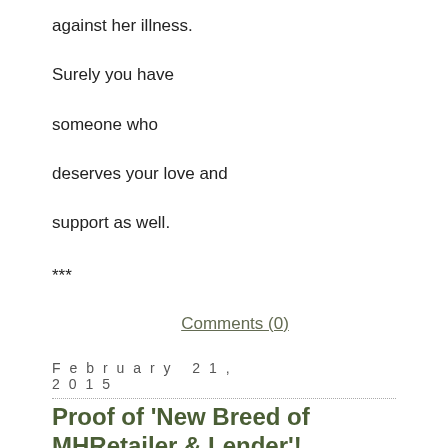against her illness.

Surely you have

someone who

deserves your love and

support as well.
***
Comments (0)
February 21, 2015
Proof of ‘New Breed of MHRetailer & Lender’!
Filed under: Uncategorized — George Allen @ 11:15 am
COBA7® via